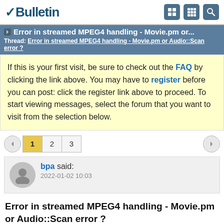vBulletin
Error in streamed MPEG4 handling - Movie.pm or...
Thread: Error in streamed MPEG4 handling - Movie.pm or Audio::Scan error ?
If this is your first visit, be sure to check out the FAQ by clicking the link above. You may have to register before you can post: click the register link above to proceed. To start viewing messages, select the forum that you want to visit from the selection below.
1 2 3
bpa said:
2022-01-02 10:03
Error in streamed MPEG4 handling - Movie.pm or Audio::Scan error ?